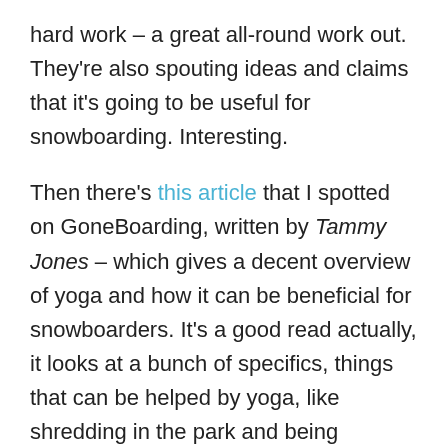hard work – a great all-round work out. They're also spouting ideas and claims that it's going to be useful for snowboarding. Interesting.
Then there's this article that I spotted on GoneBoarding, written by Tammy Jones – which gives a decent overview of yoga and how it can be beneficial for snowboarders. It's a good read actually, it looks at a bunch of specifics, things that can be helped by yoga, like shredding in the park and being prepared for freeriding. The article includes a yoga routine that's targeted at snowboarding, including a whole load of photos. If, like me, you've got no idea about yoga, it's an interesting introduction. It also touches on the surfing-yoga connection and how